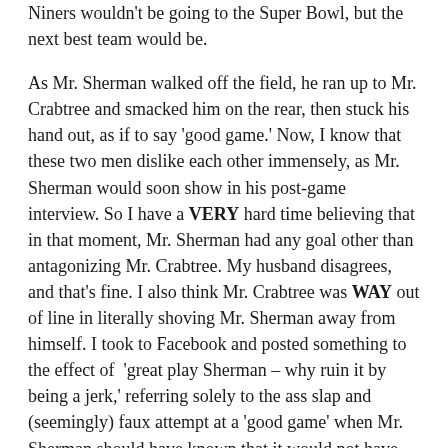Niners wouldn't be going to the Super Bowl, but the next best team would be.
As Mr. Sherman walked off the field, he ran up to Mr. Crabtree and smacked him on the rear, then stuck his hand out, as if to say 'good game.' Now, I know that these two men dislike each other immensely, as Mr. Sherman would soon show in his post-game interview. So I have a VERY hard time believing that in that moment, Mr. Sherman had any goal other than antagonizing Mr. Crabtree. My husband disagrees, and that's fine. I also think Mr. Crabtree was WAY out of line in literally shoving Mr. Sherman away from himself. I took to Facebook and posted something to the effect of  'great play Sherman – why ruin it by being a jerk,' referring solely to the ass slap and (seemingly) faux attempt at a 'good game' when Mr. Sherman should have known that it would not have been well-received. This comment went up BEFORE the immediate post-game interview that is getting so much coverage.